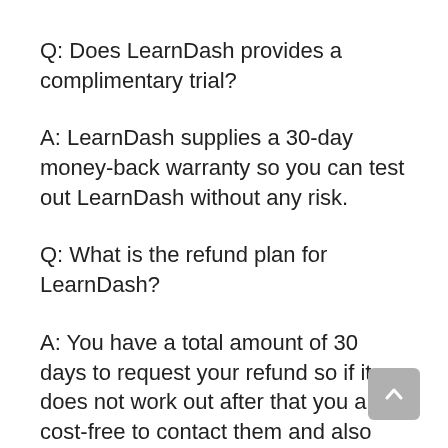Q: Does LearnDash provides a complimentary trial?
A: LearnDash supplies a 30-day money-back warranty so you can test out LearnDash without any risk.
Q: What is the refund plan for LearnDash?
A: You have a total amount of 30 days to request your refund so if it does not work out after that you are cost-free to contact them and also request your full reimbursement by emailing support@learndash.com.